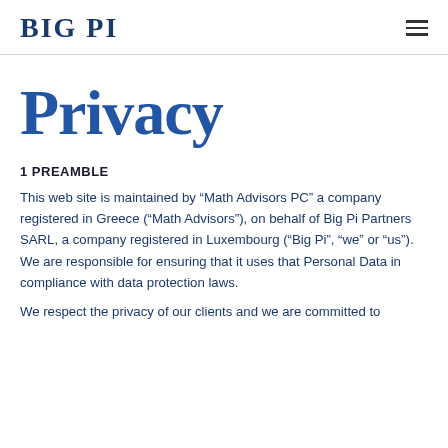BIG PI
Privacy
1 PREAMBLE
This web site is maintained by “Math Advisors PC” a company registered in Greece (“Math Advisors”), on behalf of Big Pi Partners SARL, a company registered in Luxembourg (“Big Pi”, “we” or “us”). We are responsible for ensuring that it uses that Personal Data in compliance with data protection laws.
We respect the privacy of our clients and we are committed to